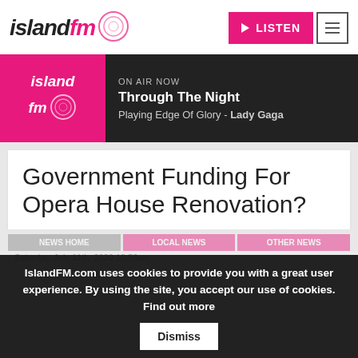[Figure (logo): Island FM radio logo with pink circles]
[Figure (other): LISTEN play button (pink) and hamburger menu button]
[Figure (other): On Air Now banner: Island FM logo on pink background, showing 'Through The Night' playing 'Edge Of Glory - Lady Gaga']
Government Funding For Opera House Renovation?
IslandFM.com uses cookies to provide you with a great user experience. By using the site, you accept our use of cookies. Find out more  Dismiss
Saturday, July 11th, 2020 10:59am